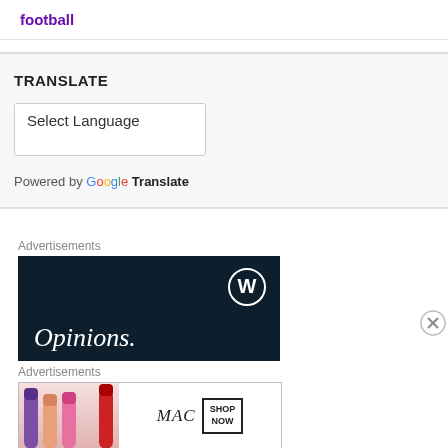football
TRANSLATE
Select Language
Powered by Google Translate
Advertisements
[Figure (screenshot): WordPress advertisement banner with dark navy background, WordPress logo (W in circle) top right, and 'Opinions.' text in white italic serif font at bottom left.]
Advertisements
[Figure (screenshot): MAC Cosmetics advertisement showing colorful lipsticks on left, MAC logo in center, and SHOP NOW button in a box on right.]